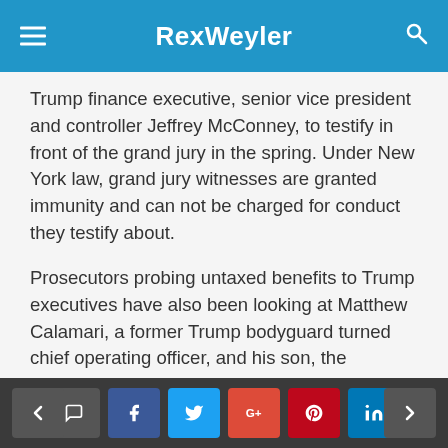RexWeyler
Trump finance executive, senior vice president and controller Jeffrey McConney, to testify in front of the grand jury in the spring. Under New York law, grand jury witnesses are granted immunity and can not be charged for conduct they testify about.
Prosecutors probing untaxed benefits to Trump executives have also been looking at Matthew Calamari, a former Trump bodyguard turned chief operating officer, and his son, the company's corporate director of security. However, a lawyer for the Calamaris said Wednesday that he didn't expect them to be charged.
“Although the D.A.’s investigation obviously is ongoing, I do not expect charges to be filed…
< [comment] [f] [t] [g+] [p] [in] >